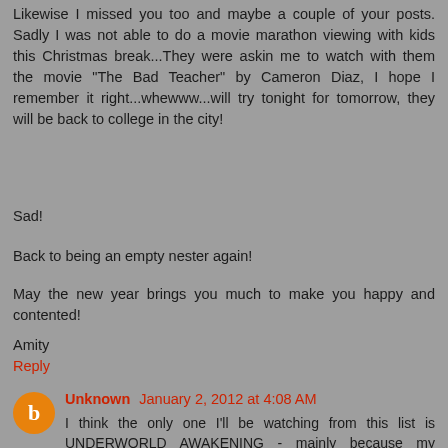Likewise I missed you too and maybe a couple of your posts. Sadly I was not able to do a movie marathon viewing with kids this Christmas break...They were askin me to watch with them the movie "The Bad Teacher" by Cameron Diaz, I hope I remember it right...whewww...will try tonight for tomorrow, they will be back to college in the city!
Sad!
Back to being an empty nester again!
May the new year brings you much to make you happy and contented!
Amity
Reply
Unknown January 2, 2012 at 4:08 AM
I think the only one I'll be watching from this list is UNDERWORLD AWAKENING - mainly because my boyfriend is a fan!